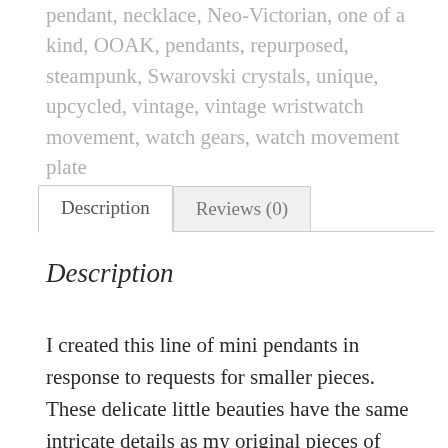pendant, necklace, Neo-Victorian, one of a kind, OOAK, pendants, repurposed, steampunk, Swarovski crystals, unique, upcycled, vintage, vintage wristwatch movement, watch gears, watch movement plate
Description | Reviews (0)
Description
I created this line of mini pendants in response to requests for smaller pieces.  These delicate little beauties have the same intricate details as my original pieces of wearable art, but in a much daintier and simpler pendant for those of you who prefer smaller pieces.